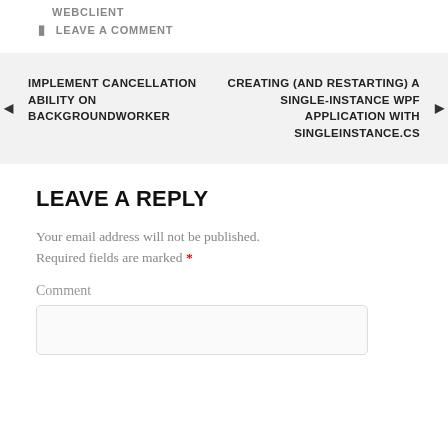WEBCLIENT
LEAVE A COMMENT
IMPLEMENT CANCELLATION ABILITY ON BACKGROUNDWORKER
CREATING (AND RESTARTING) A SINGLE-INSTANCE WPF APPLICATION WITH SINGLEINSTANCE.CS
LEAVE A REPLY
Your email address will not be published. Required fields are marked *
Comment